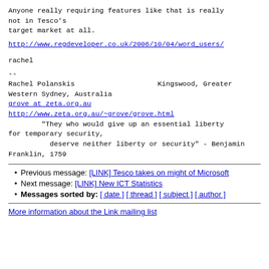Anyone really requiring features like that is really not in Tesco's
target market at all.
http://www.regdeveloper.co.uk/2006/10/04/word_users/
rachel
--
Rachel Polanskis                    Kingswood, Greater Western Sydney, Australia
grove at zeta.org.au
http://www.zeta.org.au/~grove/grove.html
        "They who would give up an essential liberty for temporary security,
          deserve neither liberty or security" - Benjamin Franklin, 1759
Previous message: [LINK] Tesco takes on might of Microsoft
Next message: [LINK] New ICT Statistics
Messages sorted by: [ date ] [ thread ] [ subject ] [ author ]
More information about the Link mailing list